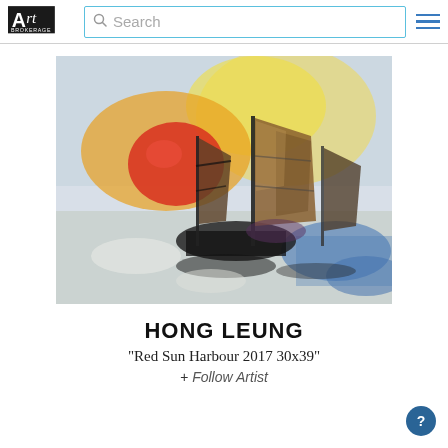Art Brokerage — Search
[Figure (illustration): Painting of Chinese junk sailboats on a harbour with a dramatic red sun and orange-yellow sky, in expressive watercolour style. Artwork titled 'Red Sun Harbour 2017 30x39' by Hong Leung.]
HONG LEUNG
"Red Sun Harbour 2017 30x39"
+ Follow Artist